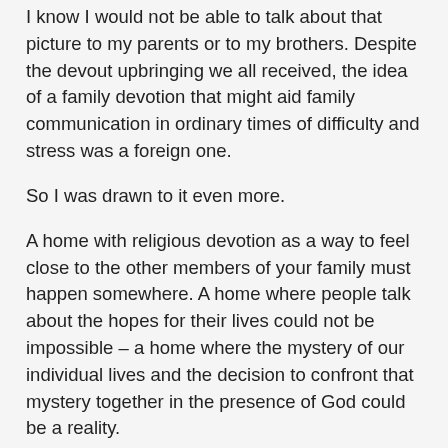I know I would not be able to talk about that picture to my parents or to my brothers. Despite the devout upbringing we all received, the idea of a family devotion that might aid family communication in ordinary times of difficulty and stress was a foreign one.
So I was drawn to it even more.
A home with religious devotion as a way to feel close to the other members of your family must happen somewhere. A home where people talk about the hopes for their lives could not be impossible – a home where the mystery of our individual lives and the decision to confront that mystery together in the presence of God could be a reality.
Deep down I had hoped for that kind of home when I entered religious life in my early twenties.
The hunger for other aspects of home life, however, made it difficult for me ultimately to feel “at home” with the vows and the kind of community they created.
Last Saturday evening I had an experience that reminded